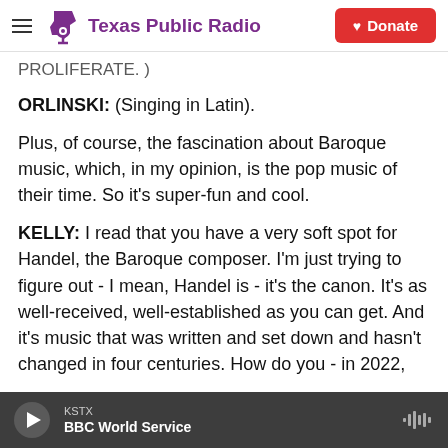Texas Public Radio — Donate
PROLIFERATE. )
ORLINSKI: (Singing in Latin).
Plus, of course, the fascination about Baroque music, which, in my opinion, is the pop music of their time. So it's super-fun and cool.
KELLY: I read that you have a very soft spot for Handel, the Baroque composer. I'm just trying to figure out - I mean, Handel is - it's the canon. It's as well-received, well-established as you can get. And it's music that was written and set down and hasn't changed in four centuries. How do you - in 2022,
KSTX — BBC World Service